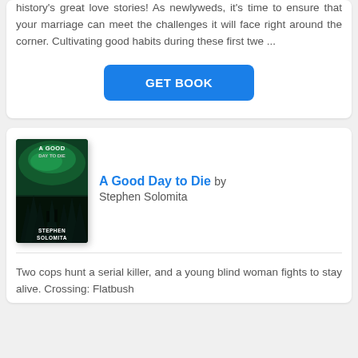history's great love stories! As newlyweds, it's time to ensure that your marriage can meet the challenges it will face right around the corner. Cultivating good habits during these first twe ...
[Figure (other): Blue 'GET BOOK' button]
[Figure (illustration): Book cover of 'A Good Day to Die' by Stephen Solomita — dark green cover with silhouetted figures and forest]
A Good Day to Die by Stephen Solomita
Two cops hunt a serial killer, and a young blind woman fights to stay alive. Crossing: Flatbush...